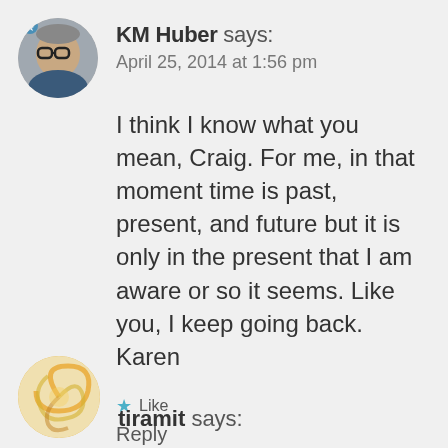[Figure (photo): Circular avatar photo of KM Huber, an older person with glasses]
KM Huber says:
April 25, 2014 at 1:56 pm
I think I know what you mean, Craig. For me, in that moment time is past, present, and future but it is only in the present that I am aware or so it seems. Like you, I keep going back.
Karen
★ Like
Reply
[Figure (photo): Circular avatar with colorful swirl pattern for tiramit]
tiramit says: